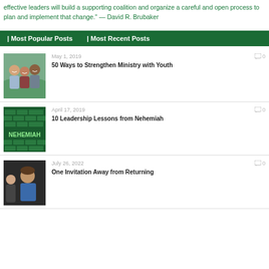effective leaders will build a supporting coalition and organize a careful and open process to plan and implement that change." — David R. Brubaker
| Most Popular Posts    | Most Recent Posts
[Figure (photo): Three smiling young adults outdoors]
May 1, 2019
0
50 Ways to Strengthen Ministry with Youth
[Figure (photo): Green brick wall with NEHEMIAH text overlay]
April 17, 2019
0
10 Leadership Lessons from Nehemiah
[Figure (photo): Person in blue top being greeted]
July 26, 2022
0
One Invitation Away from Returning